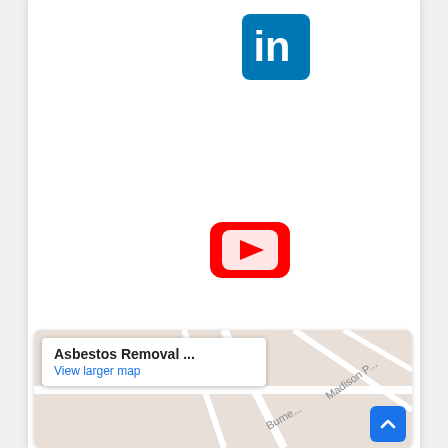[Figure (logo): LinkedIn logo icon - blue square with 'in' text in white]
[Figure (logo): YouTube logo icon - red rounded rectangle with white play button]
[Figure (logo): Twitter logo icon - blue rounded square with white bird]
[Figure (map): Google Maps embed showing location for Asbestos Removal, with street map showing Madison and Burne streets. Popup shows 'Asbestos Removal ...' with 'View larger map' link. Blue scroll-to-top button in bottom right corner.]